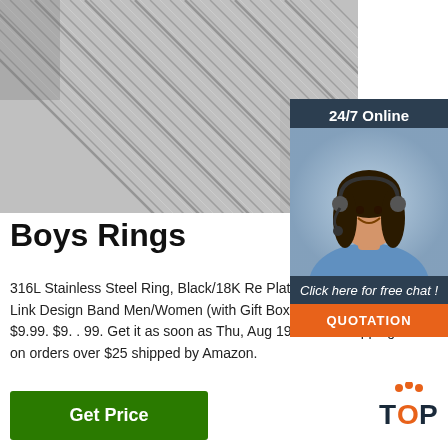[Figure (photo): Close-up photo of stainless steel rings/wire with diagonal stripes pattern]
[Figure (infographic): 24/7 online chat widget with woman wearing headset, click here for free chat and quotation button]
Boys Rings
316L Stainless Steel Ring, Black/18K Rose Plated, 6.4mm Cuban Link Design Band Men/Women (with Gift Box) 4.5 out of 5 304. $9.99. $9. . 99. Get it as soon as Thu, Aug 19. FREE Shipping on orders over $25 shipped by Amazon.
[Figure (logo): TOP badge logo in orange and dark colors]
Get Price